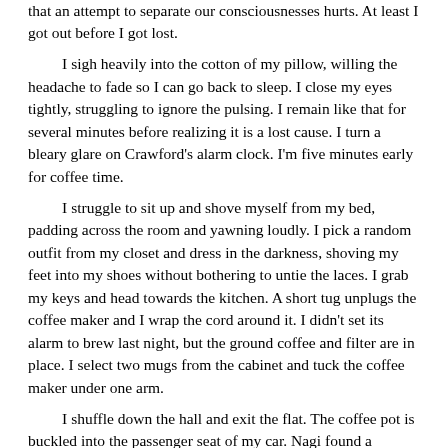that an attempt to separate our consciousnesses hurts. At least I got out before I got lost.
I sigh heavily into the cotton of my pillow, willing the headache to fade so I can go back to sleep. I close my eyes tightly, struggling to ignore the pulsing. I remain like that for several minutes before realizing it is a lost cause. I turn a bleary glare on Crawford's alarm clock. I'm five minutes early for coffee time.
I struggle to sit up and shove myself from my bed, padding across the room and yawning loudly. I pick a random outfit from my closet and dress in the darkness, shoving my feet into my shoes without bothering to untie the laces. I grab my keys and head towards the kitchen. A short tug unplugs the coffee maker and I wrap the cord around it. I didn't set its alarm to brew last night, but the ground coffee and filter are in place. I select two mugs from the cabinet and tuck the coffee maker under one arm.
I shuffle down the hall and exit the flat. The coffee pot is buckled into the passenger seat of my car. Nagi found a potential buyer who will come by today to look at Crawford's car. I turn the keys in the ignition and pull away from the flat. My eyes stray from the road to the skyscrapers as I drive. From a distance, they don't seem so tall. From here, their tips seem to be touching the clouds. It's a strange illusion.